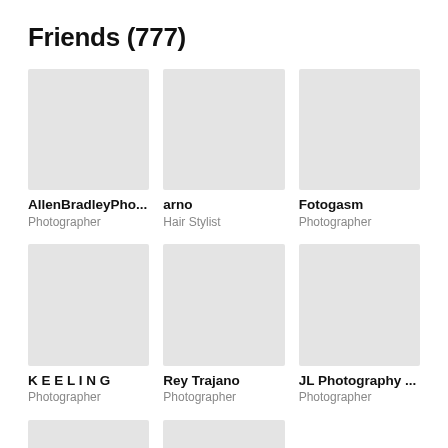Friends (777)
[Figure (photo): Profile photo placeholder for AllenBradleyPho...]
AllenBradleyPho...
Photographer
[Figure (photo): Profile photo placeholder for arno]
arno
Hair Stylist
[Figure (photo): Profile photo placeholder for Fotogasm]
Fotogasm
Photographer
[Figure (photo): Profile photo placeholder for K E E L I N G]
K E E L I N G
Photographer
[Figure (photo): Profile photo placeholder for Rey Trajano]
Rey Trajano
Photographer
[Figure (photo): Profile photo placeholder for JL Photography ...]
JL Photography ...
Photographer
[Figure (photo): Partial profile photo placeholder (bottom left)]
[Figure (photo): Partial profile photo placeholder (bottom center)]